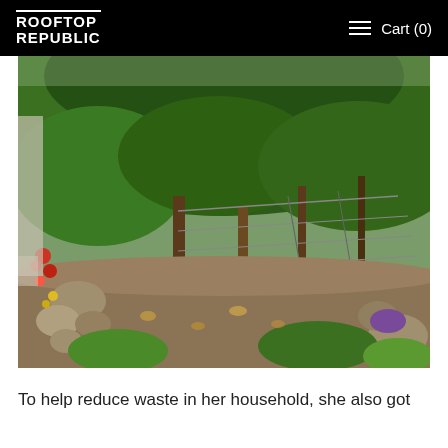ROOFTOP REPUBLIC   Cart (0)
[Figure (photo): Outdoor garden scene with lush green climbing plants and vines covering a structure, rocky stone path in foreground, red and yellow flowering plants on the left, wire fencing visible in background, earthy ground with fallen leaves]
To help reduce waste in her household, she also got